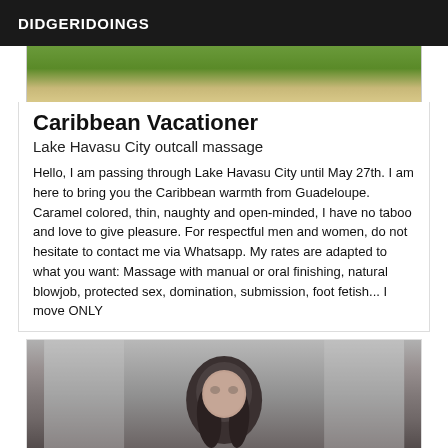DIDGERIDOINGS
[Figure (photo): Top portion of an outdoor photo showing green foliage and warm tones]
Caribbean Vacationer
Lake Havasu City outcall massage
Hello, I am passing through Lake Havasu City until May 27th. I am here to bring you the Caribbean warmth from Guadeloupe. Caramel colored, thin, naughty and open-minded, I have no taboo and love to give pleasure. For respectful men and women, do not hesitate to contact me via Whatsapp. My rates are adapted to what you want: Massage with manual or oral finishing, natural blowjob, protected sex, domination, submission, foot fetish... I move ONLY
[Figure (photo): Photo of a person with dark hair, blurred face, against a light background]